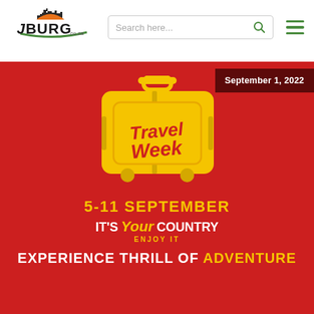[Figure (logo): Joburg.co.za logo with city skyline and stylized text]
[Figure (screenshot): Search bar with 'Search here...' placeholder and magnifying glass icon]
[Figure (infographic): Travel Week promotional banner on red background featuring a yellow suitcase graphic with 'Travel Week' text inside, date 'September 1, 2022' badge, '5-11 September' dates, 'IT'S Your COUNTRY ENJOY IT' tagline, and 'EXPERIENCE THRILL OF ADVENTURE' headline at the bottom]